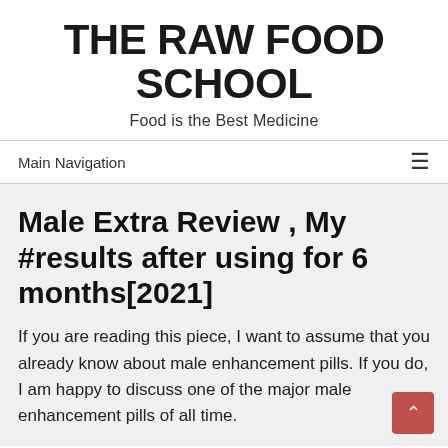THE RAW FOOD SCHOOL
Food is the Best Medicine
Main Navigation
Male Extra Review , My #results after using for 6 months[2021]
If you are reading this piece, I want to assume that you already know about male enhancement pills. If you do, I am happy to discuss one of the major male enhancement pills of all time.